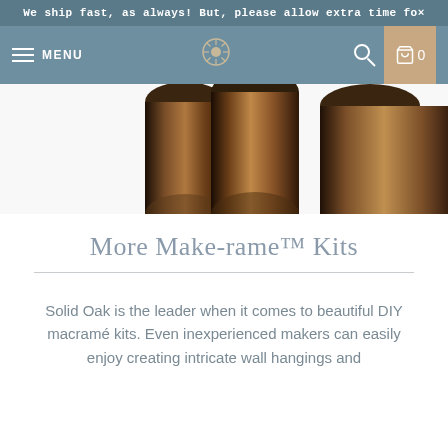We ship fast, as always! But, please allow extra time fo✕
[Figure (screenshot): Navigation bar with hamburger menu, MENU text, decorative logo icon, search icon, and cart icon with 0 count]
[Figure (photo): Close-up photo of bronze/copper metallic cylindrical tubes or dowels, shot from above on a white background]
More Make-rame™ Kits
Solid Oak is the leader when it comes to beautiful DIY macramé kits. Even inexperienced makers can easily enjoy creating intricate wall hangings and